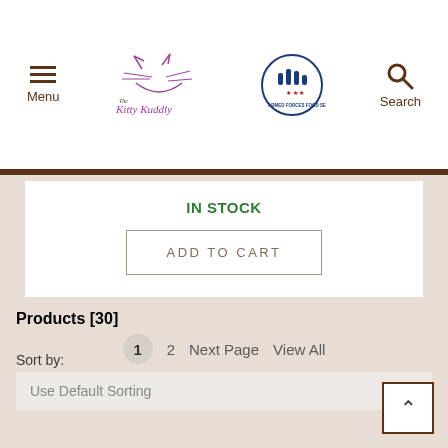[Figure (logo): Menu icon with three horizontal lines and Menu label]
[Figure (logo): The Kitty Kuddly brand logo with cat illustration]
[Figure (logo): Armed Forces Food Service center badge logo]
[Figure (logo): Search icon magnifying glass with Search label]
IN STOCK
ADD TO CART
Products [30]
Sort by:
Use Default Sorting
1  2  Next Page  View All